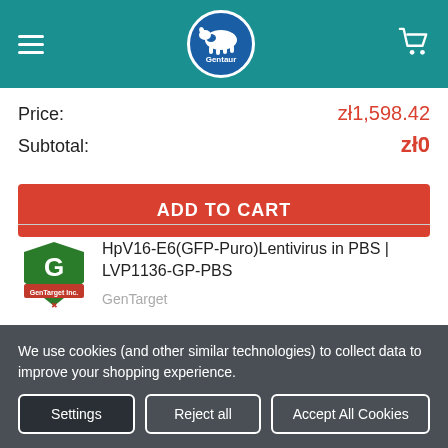[Figure (logo): Gentaur website header with hamburger menu, Gentaur logo, and cart icon on teal background]
Price: zł1,598.42
Subtotal: zł0
ADD TO CART
[Figure (logo): GenTarget Inc. product logo - green G shield with red banner]
HpV16-E6(GFP-Puro)Lentivirus in PBS | LVP1136-GP-PBS
GenTarget
Qty in Cart: 0
We use cookies (and other similar technologies) to collect data to improve your shopping experience.
Settings
Reject all
Accept All Cookies